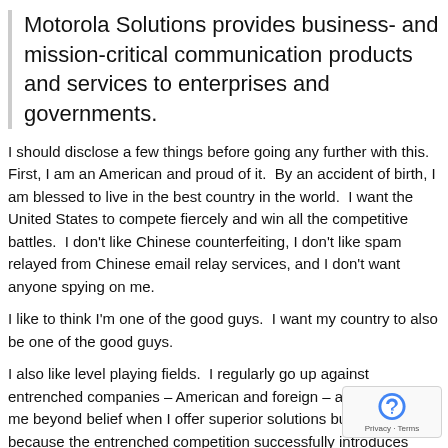Motorola Solutions provides business- and mission-critical communication products and services to enterprises and governments.
I should disclose a few things before going any further with this.  First, I am an American and proud of it.  By an accident of birth, I am blessed to live in the best country in the world.  I want the United States to compete fiercely and win all the competitive battles.  I don't like Chinese counterfeiting, I don't like spam relayed from Chinese email relay services, and I don't want anyone spying on me.
I like to think I'm one of the good guys.  I want my country to also be one of the good guys.
I also like level playing fields.  I regularly go up against entrenched companies – American and foreign – and it frustrates me beyond belief when I offer superior solutions but lose because the entrenched competition successfully introduces FUD with the potential customer.  Introducing FUD